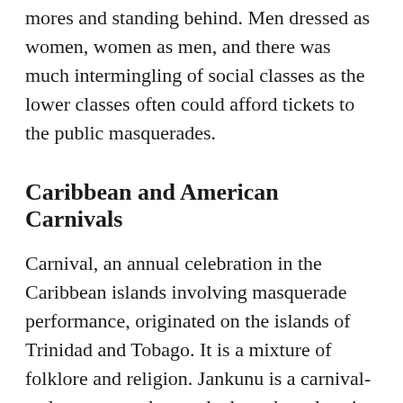mores and standing behind. Men dressed as women, women as men, and there was much intermingling of social classes as the lower classes often could afford tickets to the public masquerades.
Caribbean and American Carnivals
Carnival, an annual celebration in the Caribbean islands involving masquerade performance, originated on the islands of Trinidad and Tobago. It is a mixture of folklore and religion. Jankunu is a carnival-style masquerade parade that takes place in many Caribbean islands on Boxing Day, New Years Day and, in Grand Bahamas, the summer. Jankunu parades are also held in Miami